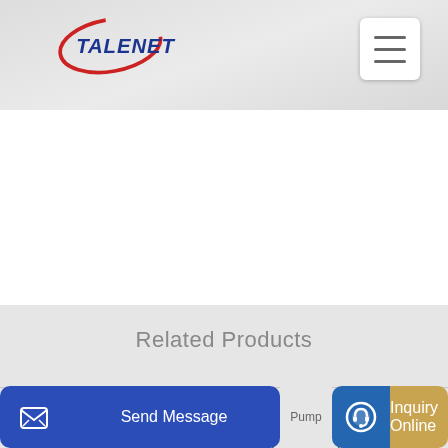[Figure (logo): Talenet logo with red swoosh and blue text]
Related Products
concrete cement mortar spray pump cement mixer
Truck Mounted Concrete Pump Dealers Tirupur
Send Message | Inquiry Online